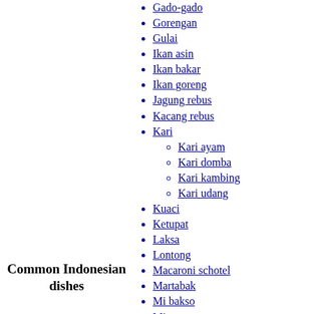Gado-gado
Gorengan
Gulai
Ikan asin
Ikan bakar
Ikan goreng
Jagung rebus
Kacang rebus
Kari
Kari ayam
Kari domba
Kari kambing
Kari udang
Kuaci
Ketupat
Laksa
Lontong
Macaroni schotel
Martabak
Mi bakso
Mi goreng
Mi kuah
Nasi campur
Nasi goreng
Nasi kari
Common Indonesian dishes